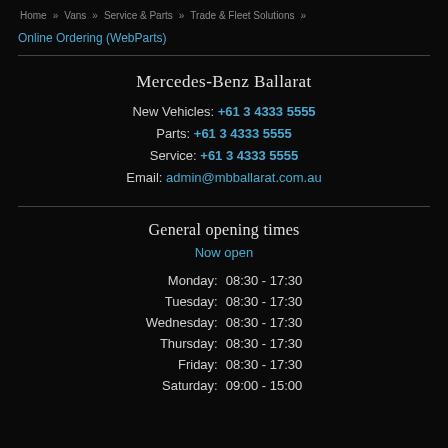Home » Vans » Service & Parts » Trade & Fleet Solutions »
Online Ordering (WebParts)
Mercedes-Benz Ballarat
New Vehicles: +61 3 4333 5555
Parts: +61 3 4333 5555
Service: +61 3 4333 5555
Email: admin@mbballarat.com.au
General opening times
Now open
Monday: 08:30 - 17:30
Tuesday: 08:30 - 17:30
Wednesday: 08:30 - 17:30
Thursday: 08:30 - 17:30
Friday: 08:30 - 17:30
Saturday: 09:00 - 15:00